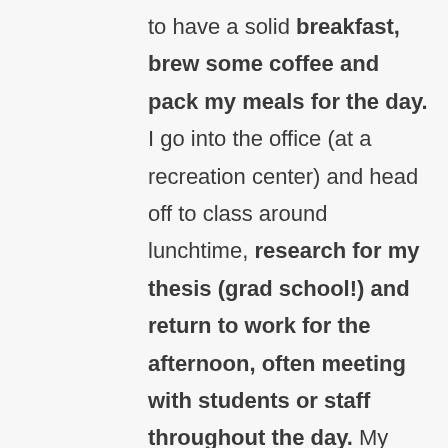to have a solid breakfast, brew some coffee and pack my meals for the day. I go into the office (at a recreation center) and head off to class around lunchtime, research for my thesis (grad school!) and return to work for the afternoon, often meeting with students or staff throughout the day. My evenings often include a strength session or some yoga or climbing, followed by dinner, winding down for the evening and planning for the next day.